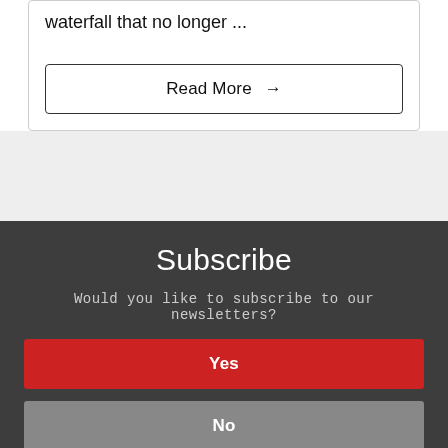waterfall that no longer ...
Read More →
Subscribe
Would you like to subscribe to our newsletters?
Yes
No